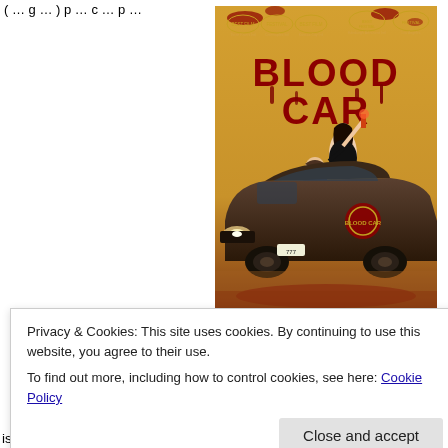(…g…) p…c…p…
[Figure (photo): Movie poster for 'Blood Car' — a horror/comedy film. Dark red splattered title text 'BLOOD CAR' at top with five festival award laurels. A woman stands on top of a dark sedan car holding a flare, a man sits in the driver seat. The car has a bloody emblem on the door. Background is a warm golden/orange hue with blood splatter effects. DVD label visible at bottom.]
Privacy & Cookies: This site uses cookies. By continuing to use this website, you agree to their use.
To find out more, including how to control cookies, see here: Cookie Policy
Close and accept
is there a car that runs on blood but there's lots of sex–the dirty kind, th